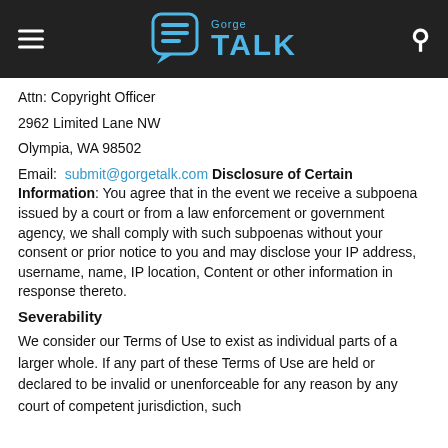Gorge Talk
Attn: Copyright Officer
2962 Limited Lane NW
Olympia, WA 98502
Email:  submit@gorgetalk.com Disclosure of Certain Information: You agree that in the event we receive a subpoena issued by a court or from a law enforcement or government agency, we shall comply with such subpoenas without your consent or prior notice to you and may disclose your IP address, username, name, IP location, Content or other information in response thereto.
Severability
We consider our Terms of Use to exist as individual parts of a larger whole. If any part of these Terms of Use are held or declared to be invalid or unenforceable for any reason by any court of competent jurisdiction, such